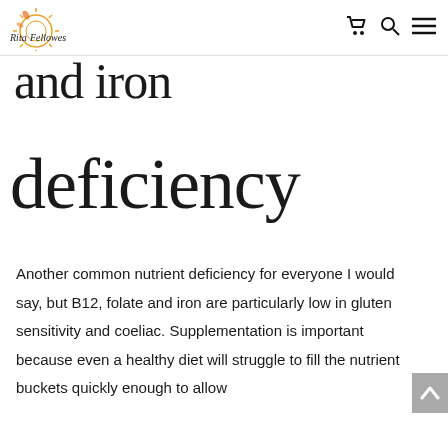Rita Fellowes [logo + navigation icons]
and iron deficiency
Another common nutrient deficiency for everyone I would say, but B12, folate and iron are particularly low in gluten sensitivity and coeliac. Supplementation is important because even a healthy diet will struggle to fill the nutrient buckets quickly enough to allow